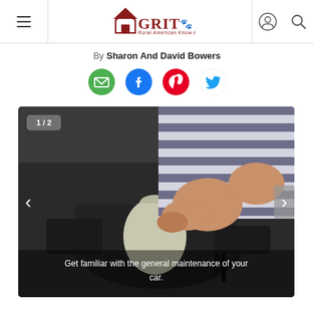GRIT Rural American Know-How
By Sharon And David Bowers
[Figure (infographic): Social share icons row: green email icon, blue Facebook icon, red Pinterest icon, blue Twitter bird icon]
[Figure (photo): Photo of a person in striped shirt checking under the hood of a car, working on the engine compartment. Slide counter badge showing 1/2 in top-left. Previous and next navigation arrows on the sides. Caption overlay at bottom reads: Get familiar with the general maintenance of your car.]
Get familiar with the general maintenance of your car.